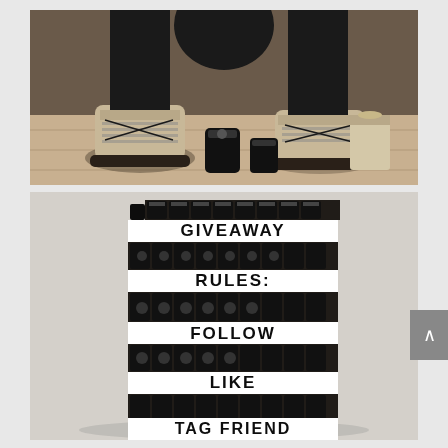[Figure (photo): Top photo showing athletic shoes (Adidas) on a wooden surface with black supplement containers/cans nearby. Dark background with gym equipment.]
[Figure (photo): Bottom photo showing a large stack of black energy drink cans arranged in a tower/display, with white banner strips between layers reading giveaway rules: GIVEAWAY RULES: FOLLOW LIKE TAG FRIEND]